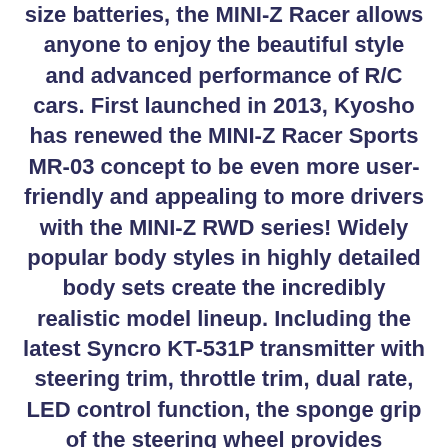size batteries, the MINI-Z Racer allows anyone to enjoy the beautiful style and advanced performance of R/C cars. First launched in 2013, Kyosho has renewed the MINI-Z Racer Sports MR-03 concept to be even more user-friendly and appealing to more drivers with the MINI-Z RWD series! Widely popular body styles in highly detailed body sets create the incredibly realistic model lineup. Including the latest Syncro KT-531P transmitter with steering trim, throttle trim, dual rate, LED control function, the sponge grip of the steering wheel provides comfortable fit for precision control feel. The set also includes a car body finished to display-model standard that matches stunning style with the performance, reliability and durability of the MR-03 chassis. The new control program on the newly designed circuit board realizes linear handling characteristics and can be further enhanced for even easier control by